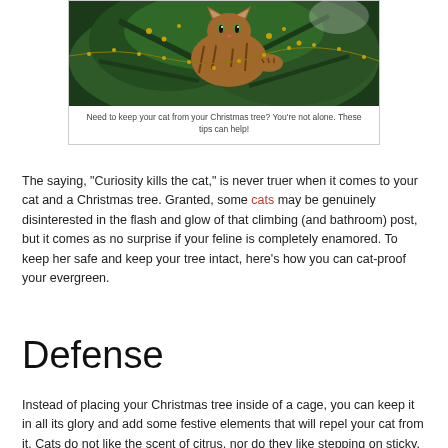[Figure (photo): A cat sitting inside a Christmas tree among green branches and decorations]
Need to keep your cat from your Christmas tree? You’re not alone. These tips can help!
The saying, “Curiosity kills the cat,” is never truer when it comes to your cat and a Christmas tree. Granted, some cats may be genuinely disinterested in the flash and glow of that climbing (and bathroom) post, but it comes as no surprise if your feline is completely enamored. To keep her safe and keep your tree intact, here’s how you can cat-proof your evergreen.
Defense
Instead of placing your Christmas tree inside of a cage, you can keep it in all its glory and add some festive elements that will repel your cat from it. Cats do not like the scent of citrus, nor do they like stepping on sticky, prickly, or odd textures